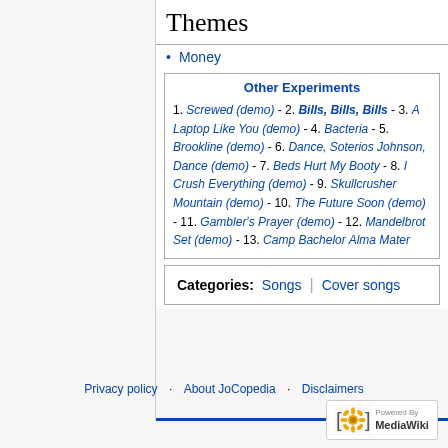Themes
Money
| Other Experiments |
| --- |
| 1. Screwed (demo) - 2. Bills, Bills, Bills - 3. A Laptop Like You (demo) - 4. Bacteria - 5. Brookline (demo) - 6. Dance, Soterios Johnson, Dance (demo) - 7. Beds Hurt My Booty - 8. I Crush Everything (demo) - 9. Skullcrusher Mountain (demo) - 10. The Future Soon (demo) - 11. Gambler's Prayer (demo) - 12. Mandelbrot Set (demo) - 13. Camp Bachelor Alma Mater |
| Categories: | Songs | Cover songs |
| --- | --- | --- |
Privacy policy · About JoCopedia · Disclaimers